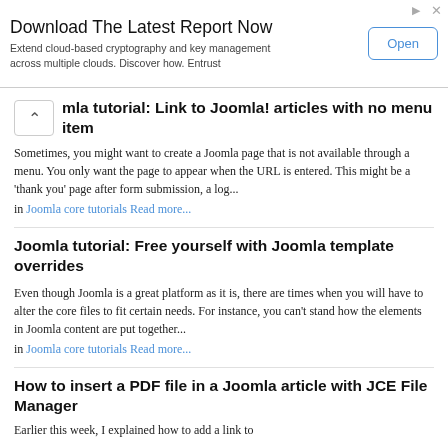[Figure (other): Advertisement banner: Download The Latest Report Now. Extend cloud-based cryptography and key management across multiple clouds. Discover how. Entrust. Open button.]
mla tutorial: Link to Joomla! articles with no menu item
Sometimes, you might want to create a Joomla page that is not available through a menu. You only want the page to appear when the URL is entered. This might be a 'thank you' page after form submission, a log...
in Joomla core tutorials Read more...
Joomla tutorial: Free yourself with Joomla template overrides
Even though Joomla is a great platform as it is, there are times when you will have to alter the core files to fit certain needs. For instance, you can't stand how the elements in Joomla content are put together...
in Joomla core tutorials Read more...
How to insert a PDF file in a Joomla article with JCE File Manager
Earlier this week, I explained how to add a link to...